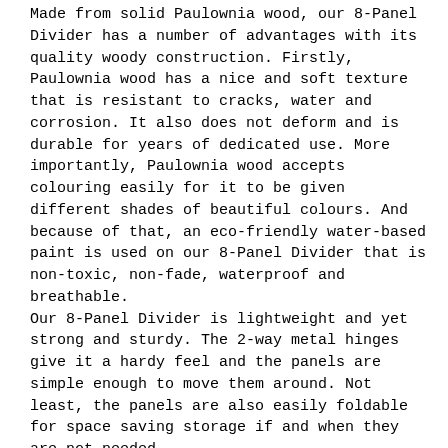Made from solid Paulownia wood, our 8-Panel Divider has a number of advantages with its quality woody construction. Firstly, Paulownia wood has a nice and soft texture that is resistant to cracks, water and corrosion. It also does not deform and is durable for years of dedicated use. More importantly, Paulownia wood accepts colouring easily for it to be given different shades of beautiful colours. And because of that, an eco-friendly water-based paint is used on our 8-Panel Divider that is non-toxic, non-fade, waterproof and breathable.
Our 8-Panel Divider is lightweight and yet strong and sturdy. The 2-way metal hinges give it a hardy feel and the panels are simple enough to move them around. Not least, the panels are also easily foldable for space saving storage if and when they are not needed.
Create space with flexible arrangements that does not tie the area down. Do it with the Artiss 8-Panel Divider. Get yours today.
Features:
Solid Paulownia wood construction
Eco-friendly and non-toxic
Resistant to cracks, water and corrosion
Non-fade, waterproof and breathable
Foldable panels
Flexible and moveable